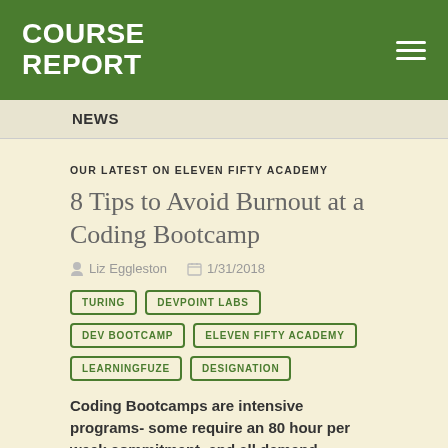COURSE REPORT
NEWS
OUR LATEST ON ELEVEN FIFTY ACADEMY
8 Tips to Avoid Burnout at a Coding Bootcamp
Liz Eggleston   1/31/2018
TURING
DEVPOINT LABS
DEV BOOTCAMP
ELEVEN FIFTY ACADEMY
LEARNINGFUZE
DESIGNATION
Coding Bootcamps are intensive programs- some require an 80 hour per week commitment, and all demand undivided attention in the